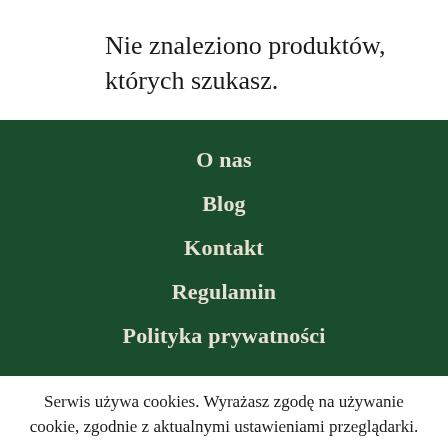Nie znaleziono produktów, których szukasz.
O nas
Blog
Kontakt
Regulamin
Polityka prywatności
Serwis używa cookies. Wyrażasz zgodę na używanie cookie, zgodnie z aktualnymi ustawieniami przeglądarki.
Czytaj dalej
Zgadzam się